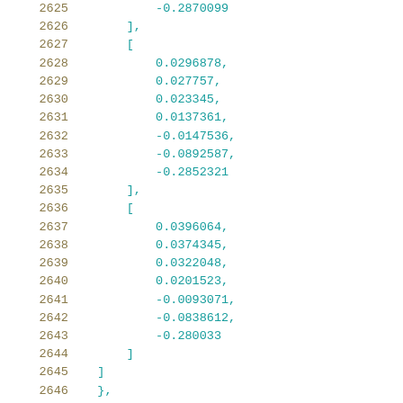Code listing lines 2625-2646 showing numeric array data
| line | code |
| --- | --- |
| 2625 |             -0.2870099 |
| 2626 |         ], |
| 2627 |         [ |
| 2628 |             0.0296878, |
| 2629 |             0.027757, |
| 2630 |             0.023345, |
| 2631 |             0.0137361, |
| 2632 |             -0.0147536, |
| 2633 |             -0.0892587, |
| 2634 |             -0.2852321 |
| 2635 |         ], |
| 2636 |         [ |
| 2637 |             0.0396064, |
| 2638 |             0.0374345, |
| 2639 |             0.0322048, |
| 2640 |             0.0201523, |
| 2641 |             -0.0093071, |
| 2642 |             -0.0838612, |
| 2643 |             -0.280033 |
| 2644 |         ] |
| 2645 |     ] |
| 2646 | }, |